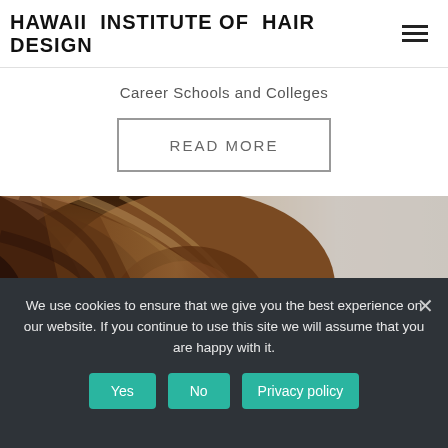HAWAII INSTITUTE OF HAIR DESIGN
Career Schools and Colleges
READ MORE
[Figure (photo): Close-up photograph of brown hair tied in a bun or ponytail, with a blurred light gray background]
We use cookies to ensure that we give you the best experience on our website. If you continue to use this site we will assume that you are happy with it.
Yes  No  Privacy policy